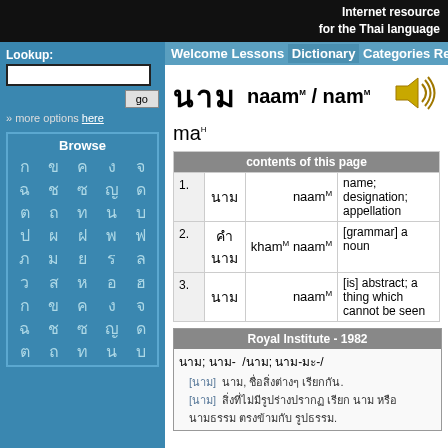Internet resource for the Thai language
Lookup: [input] go >> more options here
Browse
นาม naam^M / nam^M ma^H
| # | Thai | Romanization | Definition |
| --- | --- | --- | --- |
| 1. | นาม | naam^M | name; designation; appellation |
| 2. | คำนาม | kham^M naam^M | [grammar] a noun |
| 3. | นาม | naam^M | [is] abstract; a thing which cannot be seen |
Royal Institute - 1982
นาม; นาม-  /นาม; นาม-มะ-/ [นาม] นาม, ชื่อสิ่งต่างๆ เรียกกัน. [นาม] สิ่งที่ไม่มีรูปร่างปรากฏ เรียก นาม หรือ นามธรรม ตรงข้ามกับ รูปธรรม.